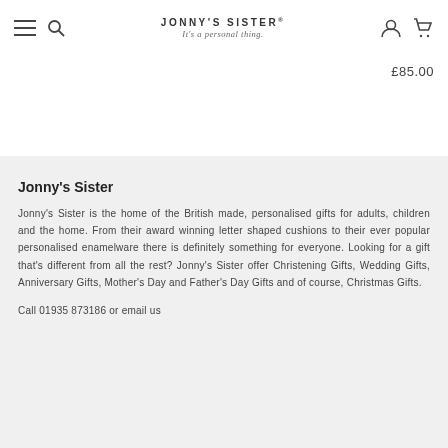JONNY'S SISTER® — It's a personal thing.
£85.00
Jonny's Sister
Jonny's Sister is the home of the British made, personalised gifts for adults, children and the home. From their award winning letter shaped cushions to their ever popular personalised enamelware there is definitely something for everyone. Looking for a gift that's different from all the rest? Jonny's Sister offer Christening Gifts, Wedding Gifts, Anniversary Gifts, Mother's Day and Father's Day Gifts and of course, Christmas Gifts.
Call 01935 873186 or email us